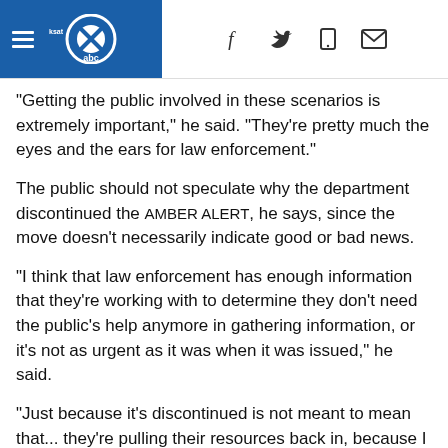ABC8 news navigation header with hamburger menu, logo, and social icons
"Getting the public involved in these scenarios is extremely important," he said. "They're pretty much the eyes and the ears for law enforcement."
The public should not speculate why the department discontinued the AMBER Alert, he says, since the move doesn't necessarily indicate good or bad news.
"I think that law enforcement has enough information that they're working with to determine they don't need the public's help anymore in gathering information, or it's not as urgent as it was when it was issued," he said.
"Just because it's discontinued is not meant to mean that... they're pulling their resources back in, because I know they're not," he added. "This could be a very complex situation. It could be any number of different scenarios."
Previously, an FBI search-and-response team was searching